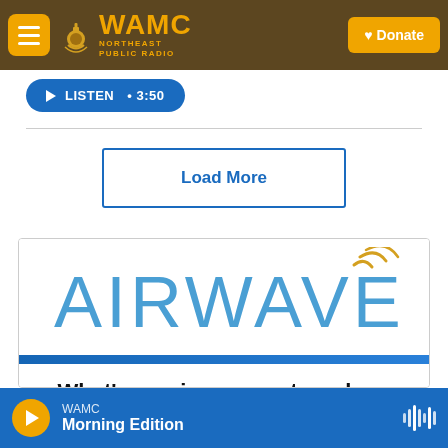WAMC Northeast Public Radio — Donate
LISTEN • 3:50
Load More
[Figure (logo): AIRWAVES logo with radio wave signal icon in light blue and gold]
What's coming up next week on WAMC?
WAMC Morning Edition